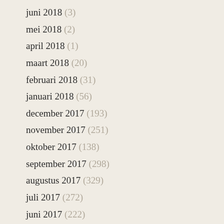juni 2018 (3)
mei 2018 (2)
april 2018 (1)
maart 2018 (20)
februari 2018 (31)
januari 2018 (56)
december 2017 (193)
november 2017 (251)
oktober 2017 (138)
september 2017 (298)
augustus 2017 (329)
juli 2017 (272)
juni 2017 (222)
mei 2017 (314)
april 2017 (226)
maart 2017 (206)
februari 2017 (189)
januari 2017 (11)